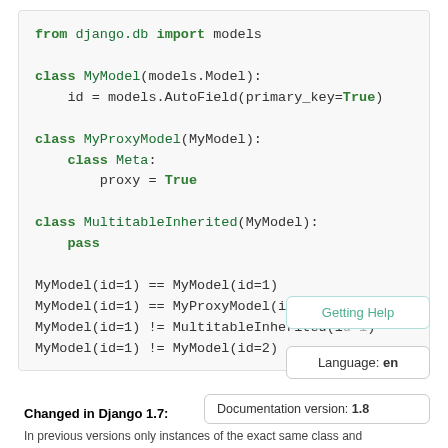[Figure (screenshot): Python/Django code block showing class definitions and equality comparisons. Contains: 'from django.db import models', 'class MyModel(models.Model):', '    id = models.AutoField(primary_key=True)', 'class MyProxyModel(MyModel):', '    class Meta:', '        proxy = True', 'class MultitableInherited(MyModel):', '    pass', 'MyModel(id=1) == MyModel(id=1)', 'MyModel(id=1) == MyProxyModel(id=1)', 'MyModel(id=1) != MultitableInherited(id=1)', 'MyModel(id=1) != MyModel(id=2)']
Getting Help
Language: en
Documentation version: 1.8
Changed in Django 1.7:
In previous versions only instances of the exact same class and